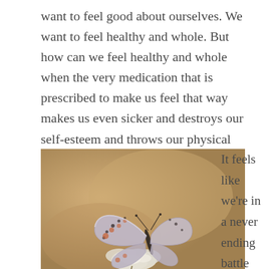want to feel good about ourselves. We want to feel healthy and whole. But how can we feel healthy and whole when the very medication that is prescribed to make us feel that way makes us even sicker and destroys our self-esteem and throws our physical health into an uproar?
[Figure (photo): A close-up photograph of a blue butterfly (Common Blue) perched on a white flower, set against a warm blurred tan/beige background.]
It feels like we're in a never ending battle with our disease. We ...